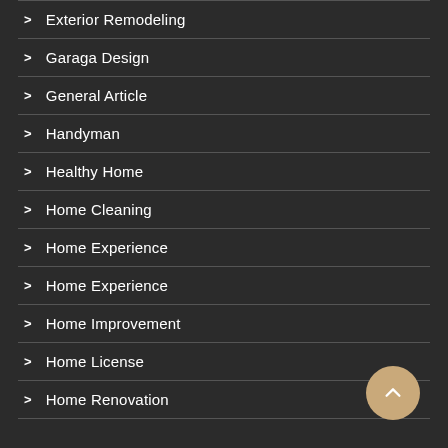Exterior Remodeling
Garaga Design
General Article
Handyman
Healthy Home
Home Cleaning
Home Experience
Home Experience
Home Improvement
Home License
Home Renovation